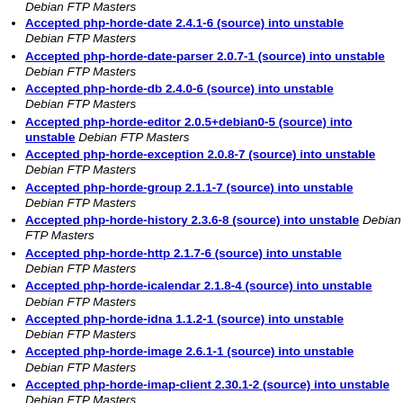Debian FTP Masters
Accepted php-horde-date 2.4.1-6 (source) into unstable Debian FTP Masters
Accepted php-horde-date-parser 2.0.7-1 (source) into unstable Debian FTP Masters
Accepted php-horde-db 2.4.0-6 (source) into unstable Debian FTP Masters
Accepted php-horde-editor 2.0.5+debian0-5 (source) into unstable Debian FTP Masters
Accepted php-horde-exception 2.0.8-7 (source) into unstable Debian FTP Masters
Accepted php-horde-group 2.1.1-7 (source) into unstable Debian FTP Masters
Accepted php-horde-history 2.3.6-8 (source) into unstable Debian FTP Masters
Accepted php-horde-http 2.1.7-6 (source) into unstable Debian FTP Masters
Accepted php-horde-icalendar 2.1.8-4 (source) into unstable Debian FTP Masters
Accepted php-horde-idna 1.1.2-1 (source) into unstable Debian FTP Masters
Accepted php-horde-image 2.6.1-1 (source) into unstable Debian FTP Masters
Accepted php-horde-imap-client 2.30.1-2 (source) into unstable Debian FTP Masters